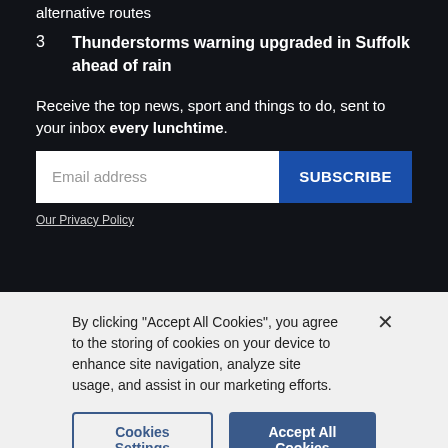alternative routes
3  Thunderstorms warning upgraded in Suffolk ahead of rain
Receive the top news, sport and things to do, sent to your inbox every lunchtime.
Email address [input] SUBSCRIBE
Our Privacy Policy
By clicking "Accept All Cookies", you agree to the storing of cookies on your device to enhance site navigation, analyze site usage, and assist in our marketing efforts.
Cookies Settings  Accept All Cookies